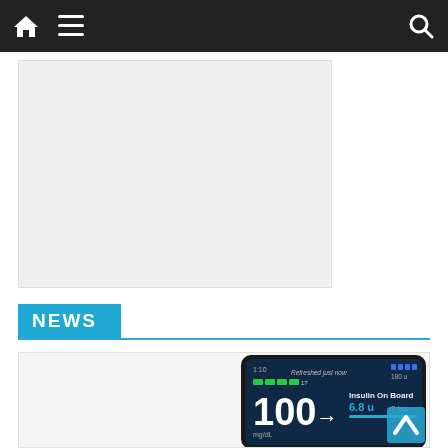Navigation bar with home, menu, and search icons
[Figure (other): Gray placeholder advertisement or content area]
NEWS
[Figure (screenshot): Smartphone screen showing a diabetes management app displaying glucose reading of 100 mg/dL with arrow, Insulin On Board 6.8 U, 2 hrs, refreshed just now, battery/signal indicators]